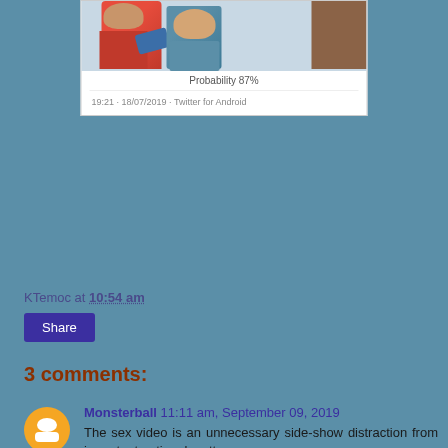[Figure (screenshot): Screenshot of a tweet showing two people with 'Probability 87%' label and timestamp '19:21 · 18/07/2019 · Twitter for Android']
KTemoc at 10:54 am
Share
3 comments:
Monsterball 11:11 am, September 09, 2019
The sex video is an unnecessary side-show distraction from important national matters.
However, it is certainly true that Azmin Ali has nothing to show after more than 1 year in his powerful portfolio.
Reply